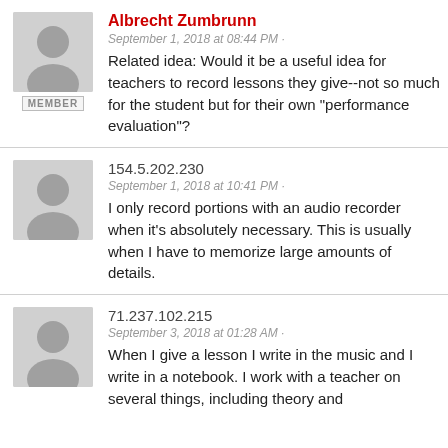Albrecht Zumbrunn
September 1, 2018 at 08:44 PM · Related idea: Would it be a useful idea for teachers to record lessons they give--not so much for the student but for their own "performance evaluation"?
154.5.202.230
September 1, 2018 at 10:41 PM · I only record portions with an audio recorder when it's absolutely necessary. This is usually when I have to memorize large amounts of details.
71.237.102.215
September 3, 2018 at 01:28 AM · When I give a lesson I write in the music and I write in a notebook. I work with a teacher on several things, including theory and